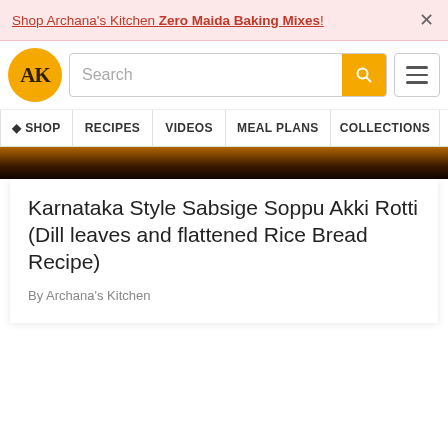Shop Archana's Kitchen Zero Maida Baking Mixes! ×
[Figure (screenshot): Archana's Kitchen website navigation bar with logo, search bar, and hamburger menu]
[Figure (photo): Partial food photo showing dark background with golden/brown food]
Karnataka Style Sabsige Soppu Akki Rotti (Dill leaves and flattened Rice Bread Recipe)
By Archana's Kitchen